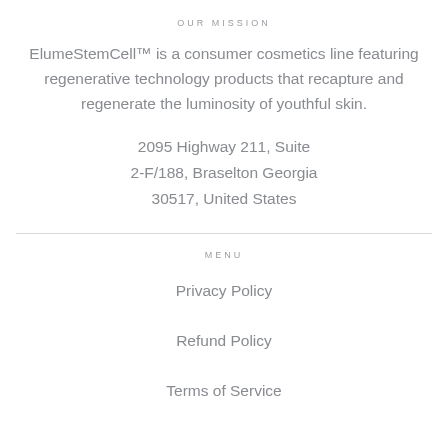OUR MISSION
ElumeStemCell™ is a consumer cosmetics line featuring regenerative technology products that recapture and regenerate the luminosity of youthful skin.
2095 Highway 211, Suite 2-F/188, Braselton Georgia 30517, United States
MENU
Privacy Policy
Refund Policy
Terms of Service